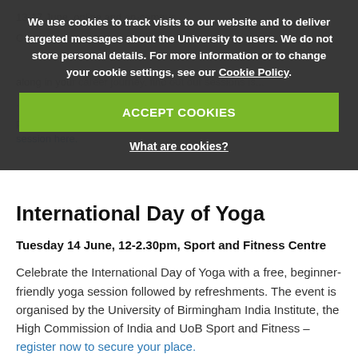We use cookies to track visits to our website and to deliver targeted messages about the University to users. We do not store personal details. For more information or to change your cookie settings, see our Cookie Policy.
ACCEPT COOKIES
What are cookies?
along in your career journey, these free workshops...
...planning and top tips... find out more and book a session here.
International Day of Yoga
Tuesday 14 June, 12-2.30pm, Sport and Fitness Centre
Celebrate the International Day of Yoga with a free, beginner-friendly yoga session followed by refreshments. The event is organised by the University of Birmingham India Institute, the High Commission of India and UoB Sport and Fitness – register now to secure your place.